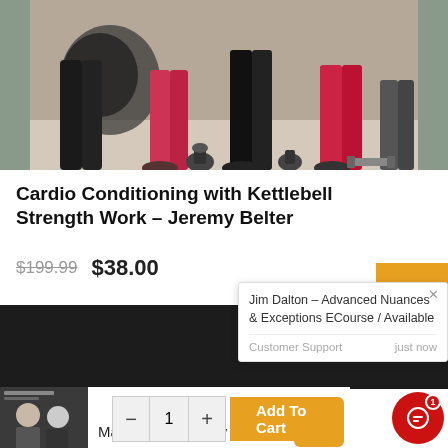[Figure (photo): Gym workout scene showing people's legs and lower bodies with kettlebells on the floor]
Cardio Conditioning with Kettlebell Strength Work – Jeremy Belter
$199.99  $38.00
[Figure (screenshot): Dark band / banner area]
[Figure (screenshot): Popup notification: Jim Dalton - Advanced Nuances & Exceptions ECourse / Available. Customer Support - just now]
[Figure (photo): Manifest Absolutely Ar product thumbnail showing two people]
Manifest Absolutely Ar
− 1 + Add To Cart